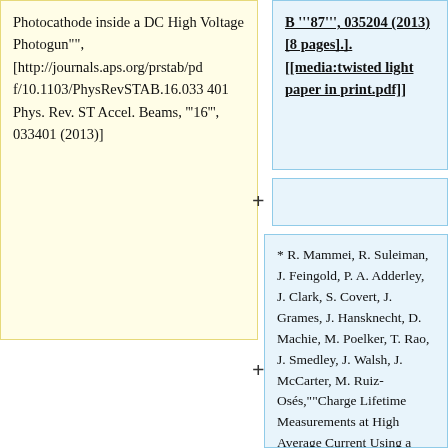Photocathode inside a DC High Voltage Photogun"", [http://journals.aps.org/prstab/pdf/10.1103/PhysRevSTAB.16.033401 Phys. Rev. ST Accel. Beams, '''16''', 033401 (2013)]
B '''87''', 035204 (2013) [8 pages].].[[media:twisted light paper in print.pdf]]
* R. Mammei, R. Suleiman, J. Feingold, P. A. Adderley, J. Clark, S. Covert, J. Grames, J. Hansknecht, D. Machie, M. Poelker, T. Rao, J. Smedley, J. Walsh, J. McCarter, M. Ruiz-Osés,""Charge Lifetime Measurements at High Average Current Using a K2CsSb Photocathode inside a DC High Voltage Photogun"", [http://journals.aps.org/prstab/pd